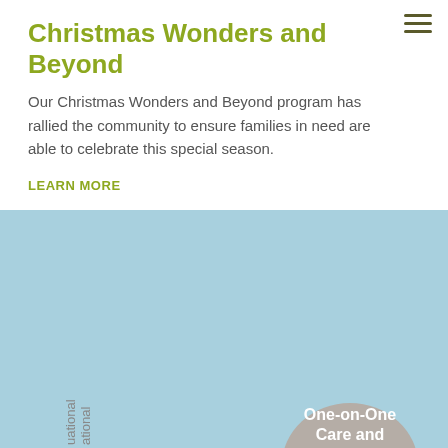Christmas Wonders and Beyond
Our Christmas Wonders and Beyond program has rallied the community to ensure families in need are able to celebrate this special season.
LEARN MORE
Here is how our Core and Partner Programs fit together and form our Family Services Strategy.
[Figure (infographic): Partial view of a circular/overlapping diagram showing Family Services Strategy with rotated text label on left side and a gray oval shape on the right labeled 'One-on-One Care and']